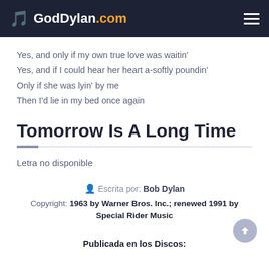GodDylan.com
Yes, and only if my own true love was waitin'
Yes, and if I could hear her heart a-softly poundin'
Only if she was lyin' by me
Then I'd lie in my bed once again
Tomorrow Is A Long Time
Letra no disponible
Escrita por: Bob Dylan
Copyright: 1963 by Warner Bros. Inc.; renewed 1991 by Special Rider Music
Publicada en los Discos: